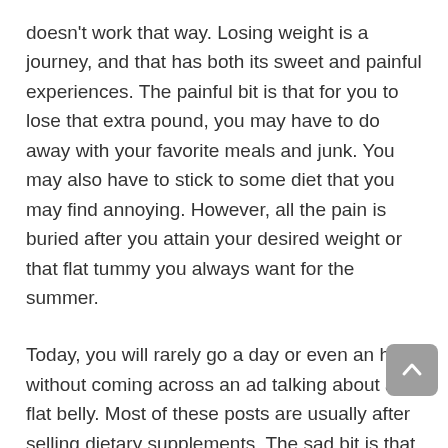doesn't work that way. Losing weight is a journey, and that has both its sweet and painful experiences. The painful bit is that for you to lose that extra pound, you may have to do away with your favorite meals and junk. You may also have to stick to some diet that you may find annoying. However, all the pain is buried after you attain your desired weight or that flat tummy you always want for the summer.
Today, you will rarely go a day or even an hour without coming across an ad talking about a flat belly. Most of these posts are usually after selling dietary supplements. The sad bit is that most of the remedies you find out there are expensive, and yet fail to deliver results. If you are serious about gaining a flat belly, for the summer break, you have probably come across the